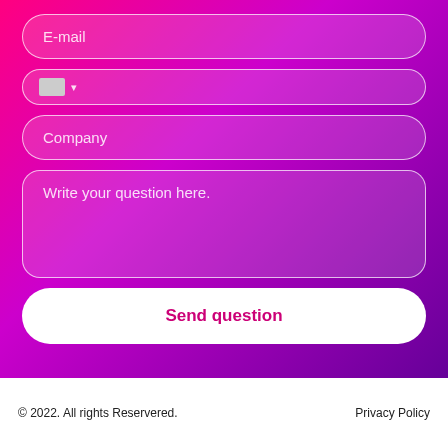[Figure (screenshot): Contact form with gradient background (pink to purple). Contains fields: E-mail, phone dropdown, Company, text area for question, and a Send question button.]
E-mail
Company
Write your question here.
Send question
© 2022. All rights Reservered.    Privacy Policy